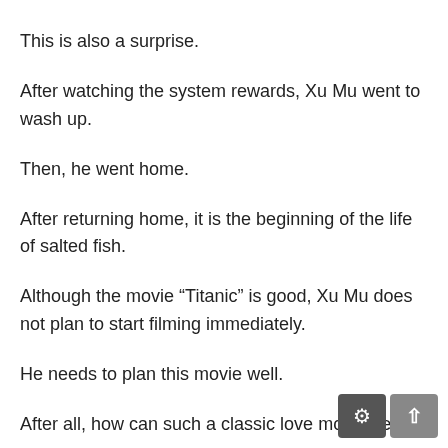This is also a surprise.
After watching the system rewards, Xu Mu went to wash up.
Then, he went home.
After returning home, it is the beginning of the life of salted fish.
Although the movie “Titanic” is good, Xu Mu does not plan to start filming immediately.
He needs to plan this movie well.
After all, how can such a classic love movie be tak…